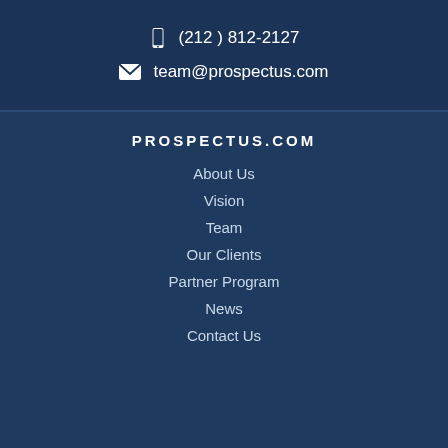(212) 812-2127
team@prospectus.com
PROSPECTUS.COM
About Us
Vision
Team
Our Clients
Partner Program
News
Contact Us